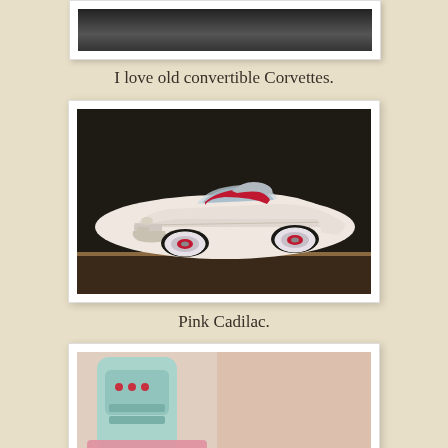[Figure (photo): Partial top photo of a dark scene, only bottom portion visible]
I love old convertible Corvettes.
[Figure (photo): Photo of a white/pink classic convertible Corvette model car with red interior and red-and-white whitewall tires, displayed on a dark shelf]
Pink Cadilac.
[Figure (photo): Partial photo showing a light blue/teal toy or object with pink elements, bottom of page cut off]